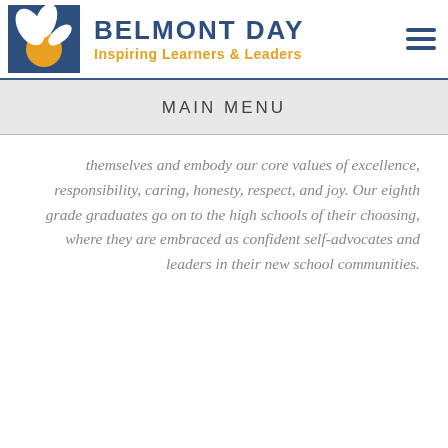[Figure (logo): Belmont Day School logo: blue square with orange circle and white leaf/plant design]
BELMONT DAY
Inspiring Learners & Leaders
MAIN MENU
themselves and embody our core values of excellence, responsibility, caring, honesty, respect, and joy. Our eighth grade graduates go on to the high schools of their choosing, where they are embraced as confident self-advocates and leaders in their new school communities.